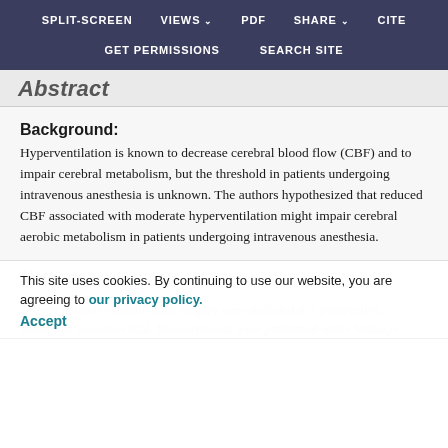SPLIT-SCREEN   VIEWS   PDF   SHARE   CITE   GET PERMISSIONS   SEARCH SITE
Abstract
Background: Hyperventilation is known to decrease cerebral blood flow (CBF) and to impair cerebral metabolism, but the threshold in patients undergoing intravenous anesthesia is unknown. The authors hypothesized that reduced CBF associated with moderate hyperventilation might impair cerebral aerobic metabolism in patients undergoing intravenous anesthesia.
Methods:
This site uses cookies. By continuing to use our website, you are agreeing to our privacy policy. Accept
Twenty patients scheduled for surgery were included in a prospective, controlled crossover trial. Measurements were performed under fentanyl-